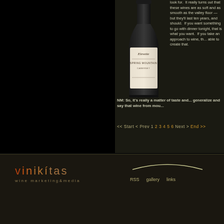[Figure (photo): Wine bottle photo - Elevette Spring Mountain Cabernet]
look for. It really turns out that these wines are as soft and as smooth as the valley floor — but they'll last ten years, and should. If you want something to go with dinner tonight, that is what you want. If you take an approach to wine, th... able to create that.
NM: So, it's really a matter of taste and... generalize and say that wine from mou...
<< Start < Prev 1 2 3 4 5 6 Next > End >>
[Figure (logo): Vinikitas wine marketing & media logo]
RSS   gallery   links   privacy   sitemap   Copyright © 2007-2009